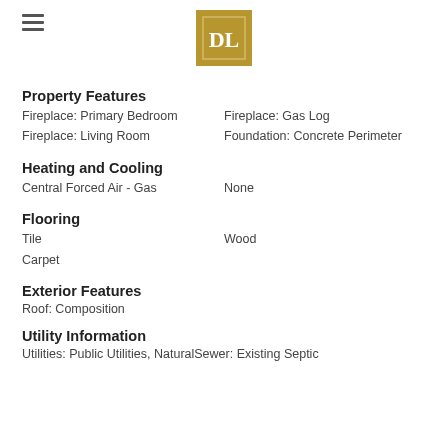[Figure (logo): DL monogram logo in gold square, with hamburger menu icon to the left]
Property Features
Fireplace: Primary Bedroom
Fireplace: Living Room
Fireplace: Gas Log
Foundation: Concrete Perimeter
Heating and Cooling
Central Forced Air - Gas
None
Flooring
Tile
Carpet
Wood
Exterior Features
Roof: Composition
Utility Information
Utilities: Public Utilities, NaturalSewer: Existing Septic